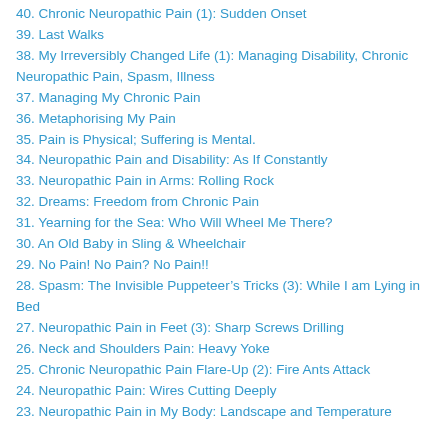40. Chronic Neuropathic Pain (1): Sudden Onset
39. Last Walks
38. My Irreversibly Changed Life (1): Managing Disability, Chronic Neuropathic Pain, Spasm, Illness
37. Managing My Chronic Pain
36. Metaphorising My Pain
35. Pain is Physical; Suffering is Mental.
34. Neuropathic Pain and Disability: As If Constantly
33. Neuropathic Pain in Arms: Rolling Rock
32. Dreams: Freedom from Chronic Pain
31. Yearning for the Sea: Who Will Wheel Me There?
30. An Old Baby in Sling & Wheelchair
29. No Pain! No Pain? No Pain!!
28. Spasm: The Invisible Puppeteer’s Tricks (3): While I am Lying in Bed
27. Neuropathic Pain in Feet (3): Sharp Screws Drilling
26. Neck and Shoulders Pain: Heavy Yoke
25. Chronic Neuropathic Pain Flare-Up (2): Fire Ants Attack
24. Neuropathic Pain: Wires Cutting Deeply
23. Neuropathic Pain in My Body: Landscape and Temperature